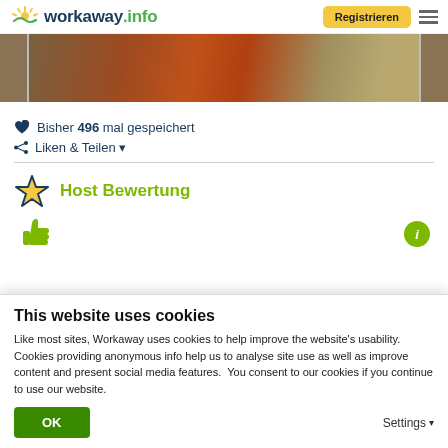workaway.info — Registrieren
[Figure (photo): Partial photo showing construction equipment — a red machine near a stone wall]
♥ Bisher 496 mal gespeichert
⊲ Liken & Teilen ▾
Host Bewertung
[Figure (illustration): Green thumbs up icon and green info circle icon]
This website uses cookies
Like most sites, Workaway uses cookies to help improve the website's usability. Cookies providing anonymous info help us to analyse site use as well as improve content and present social media features.  You consent to our cookies if you continue to use our website.
OK
Settings ▾